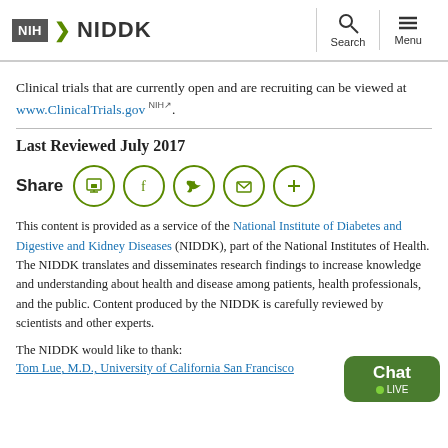NIH NIDDK | Search | Menu
Clinical trials that are currently open and are recruiting can be viewed at www.ClinicalTrials.gov NIH.
Last Reviewed July 2017
Share [print] [facebook] [twitter] [email] [more]
This content is provided as a service of the National Institute of Diabetes and Digestive and Kidney Diseases (NIDDK), part of the National Institutes of Health. The NIDDK translates and disseminates research findings to increase knowledge and understanding about health and disease among patients, health professionals, and the public. Content produced by the NIDDK is carefully reviewed by scientists and other experts.
The NIDDK would like to thank:
Tom Lue, M.D., University of California San Francisco